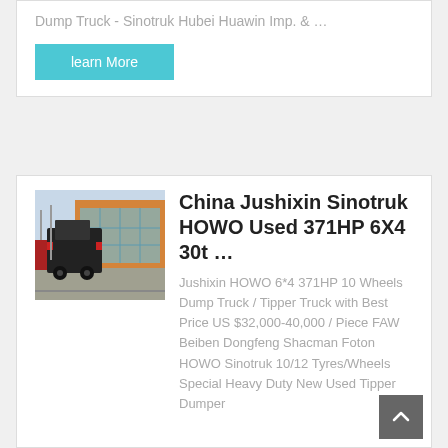Dump Truck - Sinotruk Hubei Huawin Imp. & …
learn More
[Figure (photo): Rear view of a heavy dump truck parked in an industrial/commercial area with orange and glass-facade building in background]
China Jushixin Sinotruk HOWO Used 371HP 6X4 30t …
Jushixin HOWO 6*4 371HP 10 Wheels Dump Truck / Tipper Truck with Best Price US $32,000-40,000 / Piece FAW Beiben Dongfeng Shacman Foton HOWO Sinotruk 10/12 Tyres/Wheels Special Heavy Duty New Used Tipper Dumper